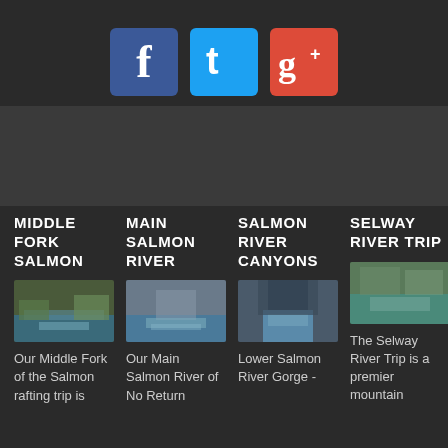[Figure (logo): Social media icons: Facebook (blue), Twitter (cyan), Google+ (red)]
MIDDLE FORK SALMON
MAIN SALMON RIVER
SALMON RIVER CANYONS
SELWAY RIVER TRIP
[Figure (photo): Middle Fork Salmon river rafting photo]
[Figure (photo): Main Salmon River photo with boats]
[Figure (photo): Salmon River Canyons gorge photo with rafters]
[Figure (photo): Selway River Trip photo with rafters]
Our Middle Fork of the Salmon rafting trip is
Our Main Salmon River of No Return
Lower Salmon River Gorge -
The Selway River Trip is a premier mountain